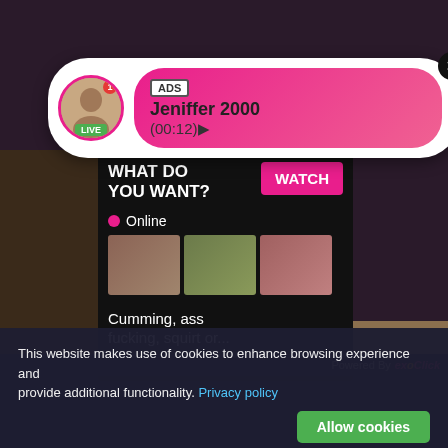[Figure (screenshot): Ad notification bubble with avatar, LIVE badge, ADS tag, name Jeniffer 2000, time (00:12), pink background, close X button]
[Figure (screenshot): Ad popup: WHAT DO YOU WANT? with WATCH button, Online indicator, three thumbnail images, text 'Cumming, ass fucking, squirt or...' and ADS label]
Total Lesbia   Live Sexy Models 🔥
Powered By exoClick
This website makes use of cookies to enhance browsing experience and provide additional functionality. Privacy policy
Allow cookies